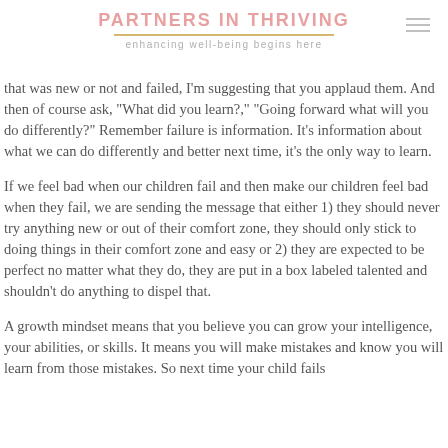PARTNERS IN THRIVING
enhancing well-being begins here
that was new or not and failed, I'm suggesting that you applaud them. And then of course ask, "What did you learn?," "Going forward what will you do differently?" Remember failure is information. It's information about what we can do differently and better next time, it's the only way to learn.
If we feel bad when our children fail and then make our children feel bad when they fail, we are sending the message that either 1) they should never try anything new or out of their comfort zone, they should only stick to doing things in their comfort zone and easy or 2) they are expected to be perfect no matter what they do, they are put in a box labeled talented and shouldn't do anything to dispel that.
A growth mindset means that you believe you can grow your intelligence, your abilities, or skills. It means you will make mistakes and know you will learn from those mistakes. So next time your child fails